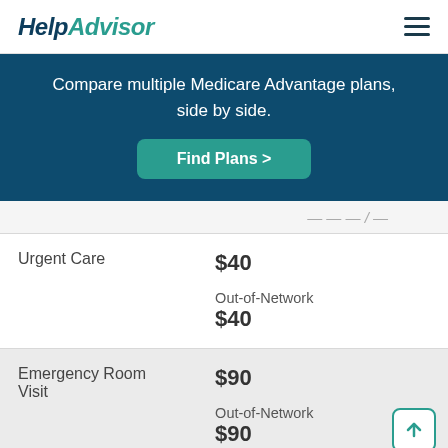HelpAdvisor
Compare multiple Medicare Advantage plans, side by side.
Find Plans >
|  |  |
| --- | --- |
| Urgent Care | $40
Out-of-Network
$40 |
| Emergency Room Visit | $90
Out-of-Network
$90 |